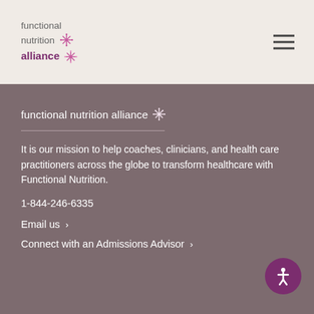[Figure (logo): Functional Nutrition Alliance logo with snowflake/asterisk icon in header]
[Figure (logo): Functional Nutrition Alliance logo with snowflake/asterisk icon in footer section]
It is our mission to help coaches, clinicians, and health care practitioners across the globe to transform healthcare with Functional Nutrition.
1-844-246-6335
Email us
Connect with an Admissions Advisor